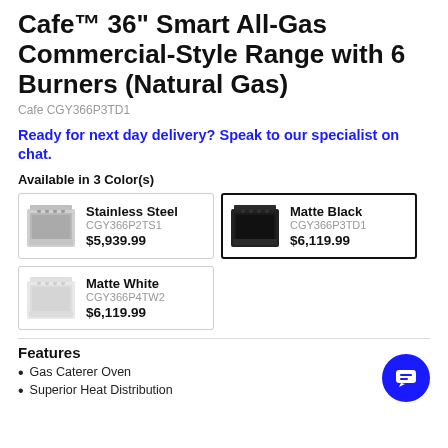Cafe 36" Smart All-Gas Commercial-Style Range with 6 Burners (Natural Gas)
Cafe CGY366P3TD1
Ready for next day delivery? Speak to our specialist on chat.
Available in 3 Color(s)
| Color | Model | Price |
| --- | --- | --- |
| Stainless Steel | CGY366P2TS1 | $5,939.99 |
| Matte Black | CGY366P3TD1 | $6,119.99 |
| Matte White | CGY366P4TW2 | $6,119.99 |
Features
Gas Caterer Oven
Superior Heat Distribution